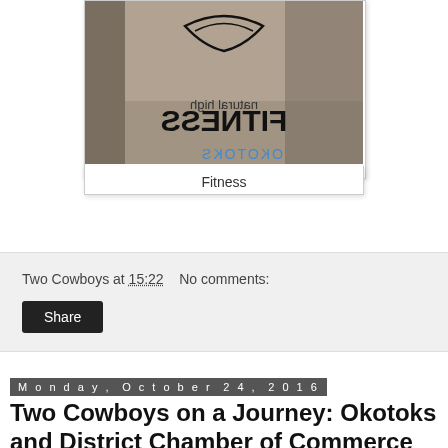[Figure (photo): Photo of a fitness studio glass door/window with reversed 'FITNESS' text and logo visible from outside]
Fitness
Two Cowboys at 15:22    No comments:
Share
Monday, October 24, 2016
Two Cowboys on a Journey: Okotoks and District Chamber of Commerce Business Excellence Awards 2016 in Okotoks Alberta